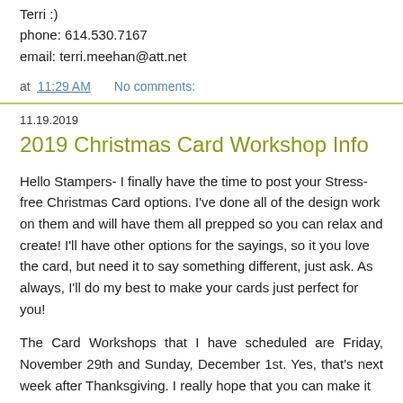Terri :)
phone: 614.530.7167
email: terri.meehan@att.net
at 11:29 AM   No comments:
11.19.2019
2019 Christmas Card Workshop Info
Hello Stampers- I finally have the time to post your Stress-free Christmas Card options. I've done all of the design work on them and will have them all prepped so you can relax and create! I'll have other options for the sayings, so it you love the card, but need it to say something different, just ask. As always, I'll do my best to make your cards just perfect for you!
The Card Workshops that I have scheduled are Friday, November 29th and Sunday, December 1st. Yes, that's next week after Thanksgiving. I really hope that you can make it